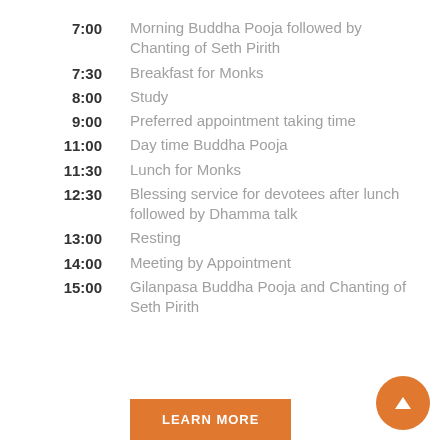7:00 — Morning Buddha Pooja followed by Chanting of Seth Pirith
7:30 — Breakfast for Monks
8:00 — Study
9:00 — Preferred appointment taking time
11:00 — Day time Buddha Pooja
11:30 — Lunch for Monks
12:30 — Blessing service for devotees after lunch followed by Dhamma talk
13:00 — Resting
14:00 — Meeting by Appointment
15:00 — Gilanpasa Buddha Pooja and Chanting of Seth Pirith
LEARN MORE